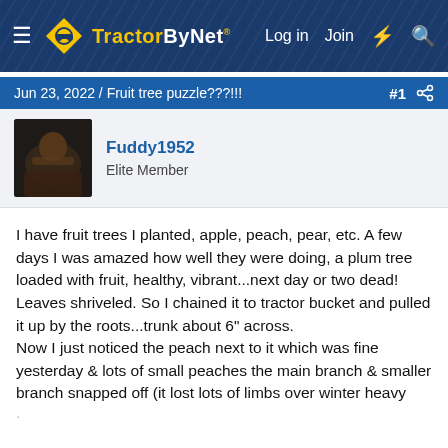TractorByNet — Log in  Join
Jun 23, 2022 / Fruit tree puzzle???!!! #1
Fuddy1952
Elite Member
I have fruit trees I planted, apple, peach, pear, etc. A few days I was amazed how well they were doing, a plum tree loaded with fruit, healthy, vibrant...next day or two dead! Leaves shriveled. So I chained it to tractor bucket and pulled it up by the roots...trunk about 6" across.
Now I just noticed the peach next to it which was fine yesterday & lots of small peaches the main branch & smaller branch snapped off (it lost lots of limbs over winter heavy